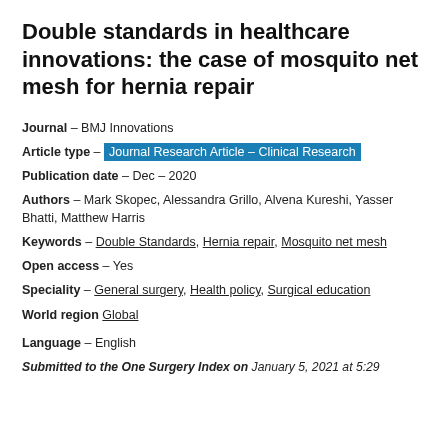Double standards in healthcare innovations: the case of mosquito net mesh for hernia repair
Journal – BMJ Innovations
Article type – Journal Research Article – Clinical Research
Publication date – Dec – 2020
Authors – Mark Skopec, Alessandra Grillo, Alvena Kureshi, Yasser Bhatti, Matthew Harris
Keywords – Double Standards, Hernia repair, Mosquito net mesh
Open access – Yes
Speciality – General surgery, Health policy, Surgical education
World region Global
Language – English
Submitted to the One Surgery Index on January 5, 2021 at 5:29